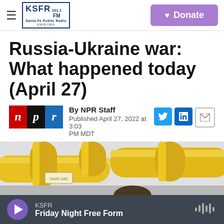KSFR 101.1 FM Santa Fe Public Radio | Donate
Russia-Ukraine war: What happened today (April 27)
By NPR Staff
Published April 27, 2022 at 3:03 PM MDT
[Figure (photo): Yellow gas pipes with a man wearing glasses partially visible, at a gas facility. Related to Russia cutting off gas to Poland.]
KSFR — Friday Night Free Form (audio player)